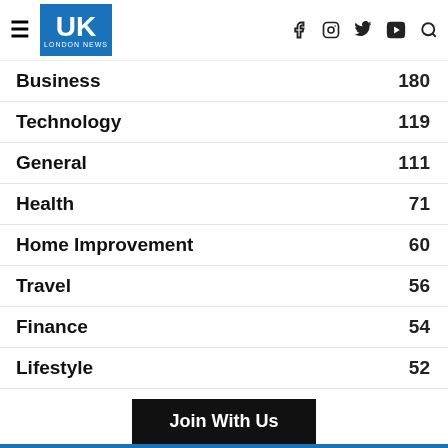UK London News – navigation header with hamburger menu, logo, and social icons (f, instagram, twitter, youtube, search)
Business 180
Technology 119
General 111
Health 71
Home Improvement 60
Travel 56
Finance 54
Lifestyle 52
Join With Us
[td_block_social_counter facebook="https://www.facebook.com/" twitter="https://twitter.com/?lang=en" youtube="https://www.youtube.com/" instagram="https://www.instagram.com/" pinterest="https://www.pinterest.com/"]